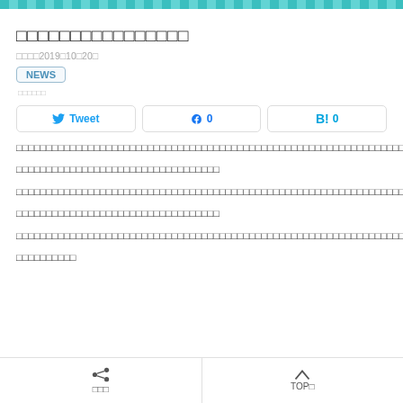decorative teal striped header bar
□□□□□□□□□□□□□□□□
□□□□2019□10□20□
NEWS
□□□□□□
Tweet  □ 0  B! 0
□□□□□□□□□□□□□□□□□□□□□□□□□□□□□□□□□□□□□□□□□□□□□□□□□□□□□□□□□□□□□□□□□□□□□□□□□□□□□□□□□□□□□□□□□□□□□□□□□□□□□□□□□□□□□□□□□□□□□□□□□□□□□□□□□□□□□□□□□□□□□□□□□□□□□□□□□□□□□□□□□□□□□□□□□□□□□□□□□□□□□□□□□□□□□□□□□□□□□□□□□□□□□□□□□□□□□□□□□□□□□□□□□□□□□□□□□□□□□□□□□□□□□□□□□□□□□□□□□□□□□□□□□□□□□□□□□□□□□□□□□□□□□□□□□□□□□□□□□□□□□□□□□□□□□□□□□□□□□□□□□□□□□□□□□□□□□□□□□□□□□□□□□□□□□□□□□□□□□□□□□□□□□□□□□□□□□□□□□□□□□□□□□□□□□□□□□□□□□□□□□□□□□□□□□□□□□□□□□□□□□□□□□□□□□□□□□□□□□□□□□□□□□□□□□□□□□□□□□□□□□□□□□□□□□□□□□□□□□□□□□□□□□□□□□□□□□□□□□□□□□□□□□□□□□□□□□□□□□□□□□□□□□□□□□□□□□□□□□□□□□□□□□□□□□□□□□□□□□□□□□□□□□□□□□□□□□□□□□
□□□  TOP□